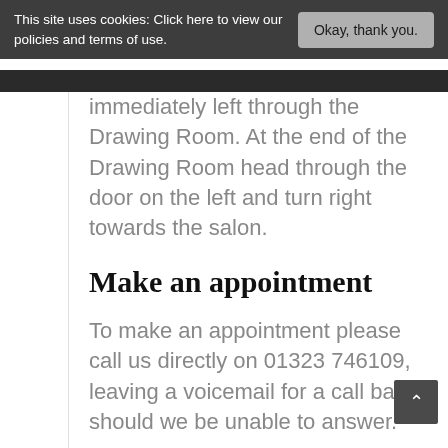This site uses cookies: Click here to view our policies and terms of use.   Okay, thank you.
immediately left through the Drawing Room. At the end of the Drawing Room head through the door on the left and turn right towards the salon.
Make an appointment
To make an appointment please call us directly on 01323 746109, leaving a voicemail for a call back should we be unable to answer.